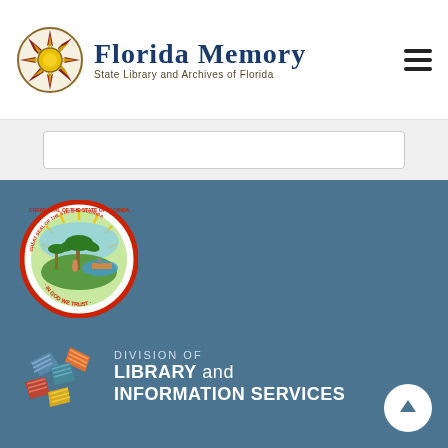[Figure (logo): Florida Memory logo with sunburst compass rose icon and text 'FLORIDA MEMORY State Library and Archives of Florida']
[Figure (logo): Hamburger menu icon (three horizontal lines)]
[Figure (logo): Great Seal of the State of Florida circular seal]
[Figure (logo): Division of Library and Information Services logo with colorful book/star icon]
DIVISION OF LIBRARY and INFORMATION SERVICES